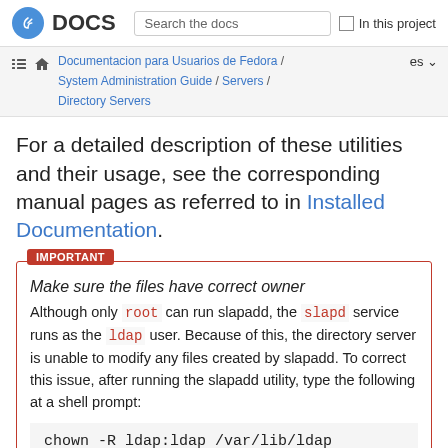Fedora DOCS | Search the docs | In this project
Documentacion para Usuarios de Fedora / System Administration Guide / Servers / Directory Servers | es
For a detailed description of these utilities and their usage, see the corresponding manual pages as referred to in Installed Documentation.
IMPORTANT
Make sure the files have correct owner
Although only root can run slapadd, the slapd service runs as the ldap user. Because of this, the directory server is unable to modify any files created by slapadd. To correct this issue, after running the slapadd utility, type the following at a shell prompt:
chown -R ldap:ldap /var/lib/ldap